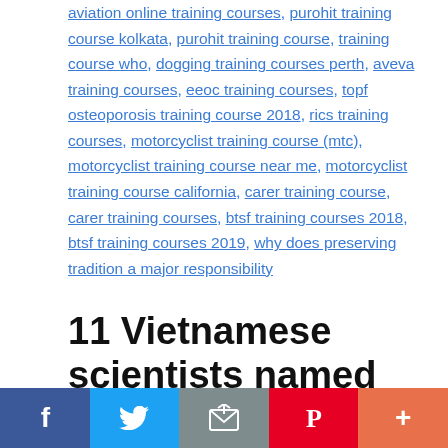aviation online training courses, purohit training course kolkata, purohit training course, training course who, dogging training courses perth, aveva training courses, eeoc training courses, topf osteoporosis training course 2018, rics training courses, motorcyclist training course (mtc), motorcyclist training course near me, motorcyclist training course california, carer training course, carer training courses, btsf training courses 2018, btsf training courses 2019, why does preserving tradition a major responsibility
11 Vietnamese scientists named for world research
August 19, 2022 by hanoitimes.vn — Leave a Comment